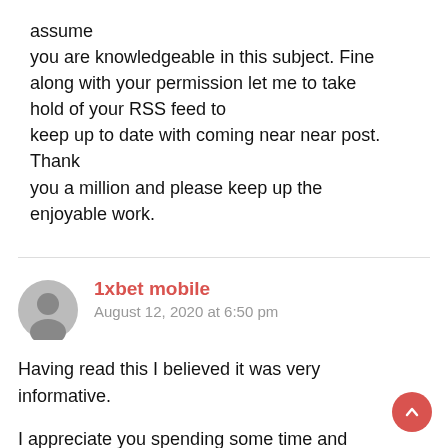assume you are knowledgeable in this subject. Fine along with your permission let me to take hold of your RSS feed to keep up to date with coming near near post. Thank you a million and please keep up the enjoyable work.
1xbet mobile
August 12, 2020 at 6:50 pm
Having read this I believed it was very informative.
I appreciate you spending some time and